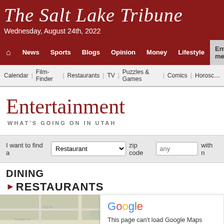The Salt Lake Tribune
Wednesday, August 24th, 2022
News | Sports | Blogs | Opinion | Money | Lifestyle | Entertainment
Calendar | Film-Finder | Restaurants | TV | Puzzles & Games | Comics | Horoscope
Entertainment
WHAT'S GOING ON IN UTAH
I want to find a   Restaurant   zip code  any   with n
DINING
RESTAURANTS
[Figure (map): Map background with road lines in tan/beige tones]
Google
This page can't load Google Maps correctly.